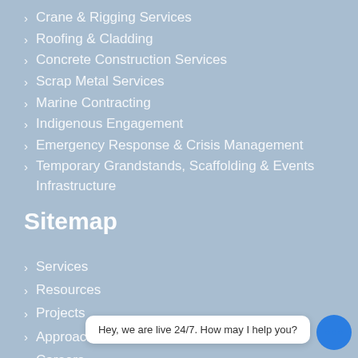Crane & Rigging Services
Roofing & Cladding
Concrete Construction Services
Scrap Metal Services
Marine Contracting
Indigenous Engagement
Emergency Response & Crisis Management
Temporary Grandstands, Scaffolding & Events Infrastructure
Sitemap
Services
Resources
Projects
Approach
Careers
Hey, we are live 24/7. How may I help you?